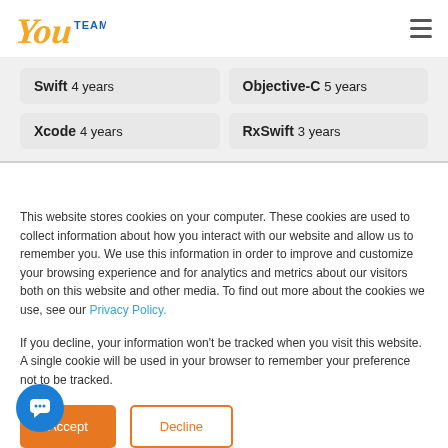YouTeam [logo] [hamburger menu]
Swift 4 years
Objective-C 5 years
Xcode 4 years
RxSwift 3 years
This website stores cookies on your computer. These cookies are used to collect information about how you interact with our website and allow us to remember you. We use this information in order to improve and customize your browsing experience and for analytics and metrics about our visitors both on this website and other media. To find out more about the cookies we use, see our Privacy Policy.
If you decline, your information won't be tracked when you visit this website. A single cookie will be used in your browser to remember your preference not to be tracked.